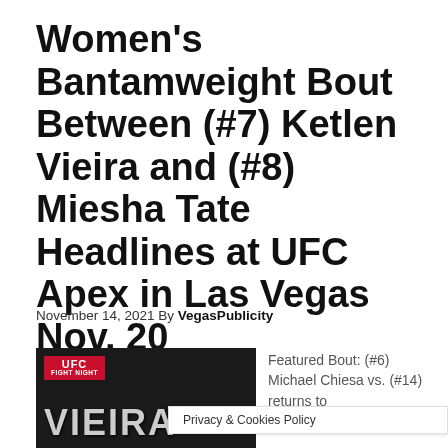Women's Bantamweight Bout Between (#7) Ketlen Vieira and (#8) Miesha Tate Headlines at UFC Apex in Las Vegas Nov. 20
November 14, 2021 By VegasPublicity
[Figure (photo): UFC Fight Night promotional image showing 'VIEIRA' text on dark background with UFC Fight Night badge in red]
Featured Bout: (#6) Michael Chiesa vs. (#14) returns to
Privacy & Cookies Policy